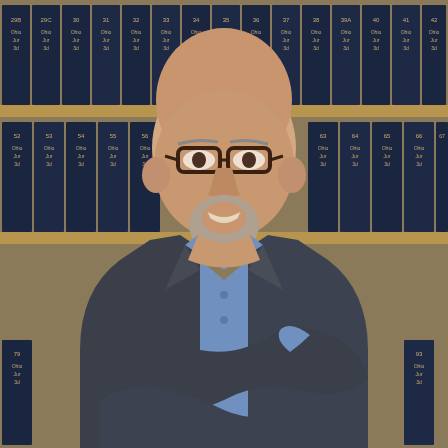[Figure (photo): Professional headshot of a middle-aged bald man with glasses, grey beard, wearing a dark charcoal blazer over a light blue collared shirt, arms crossed, smiling. Background is a law library bookshelf filled with dark navy 'Ohio Jur 3d' legal volumes numbered from approximately 29B through 93.]